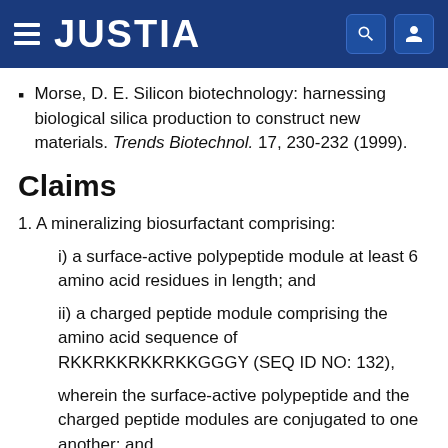JUSTIA
Morse, D. E. Silicon biotechnology: harnessing biological silica production to construct new materials. Trends Biotechnol. 17, 230-232 (1999).
Claims
1. A mineralizing biosurfactant comprising:
i) a surface-active polypeptide module at least 6 amino acid residues in length; and
ii) a charged peptide module comprising the amino acid sequence of RKKRKKRKKRKKGGGY (SEQ ID NO: 132),
wherein the surface-active polypeptide and the charged peptide modules are conjugated to one another; and